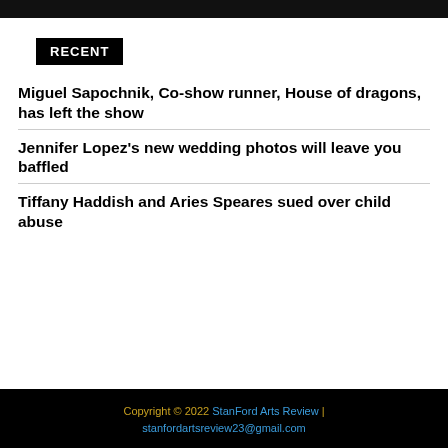[Figure (photo): Dark top image strip, partially visible photo at top of page]
RECENT
Miguel Sapochnik, Co-show runner, House of dragons, has left the show
Jennifer Lopez's new wedding photos will leave you baffled
Tiffany Haddish and Aries Speares sued over child abuse
Copyright © 2022 StanFord Arts Review | stanfordartsreview23@gmail.com